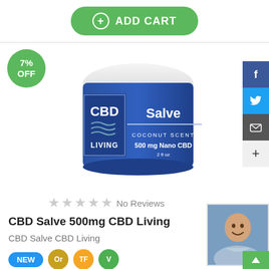[Figure (other): Green ADD CART button with plus icon in circle]
[Figure (photo): CBD Living Salve 500mg Nano CBD jar with blue label, coconut scent]
No Reviews
CBD Salve 500mg CBD Living
CBD Salve CBD Living
[Figure (other): Product badges: NEW (blue), Or (brown circle), TF (orange circle), V (green circle)]
[Figure (photo): Portrait photo of a smiling middle-aged man in a light blue shirt]